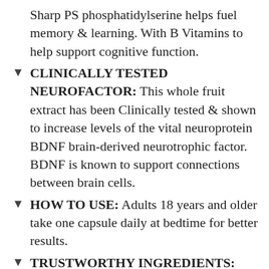Sharp PS phosphatidylserine helps fuel memory & learning. With B Vitamins to help support cognitive function.
CLINICALLY TESTED NEUROFACTOR: This whole fruit extract has been Clinically tested & shown to increase levels of the vital neuroprotein BDNF brain-derived neurotrophic factor. BDNF is known to support connections between brain cells.
HOW TO USE: Adults 18 years and older take one capsule daily at bedtime for better results.
TRUSTWORTHY INGREDIENTS: These brain health capsules were formulated with you in mind, so they are Vegetarian, Gluten-Free, GMO-Free and Decaffeinated.
GET DIGITAL WITH NEURIVA APP: Get